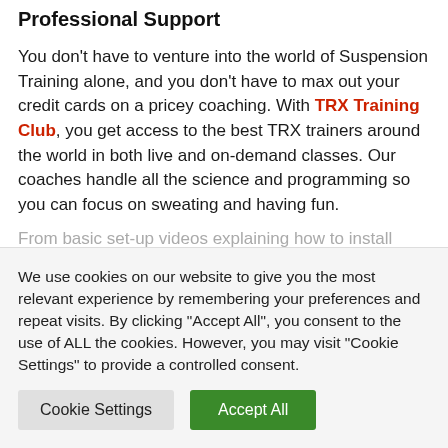Professional Support
You don't have to venture into the world of Suspension Training alone, and you don't have to max out your credit cards on a pricey coaching. With TRX Training Club, you get access to the best TRX trainers around the world in both live and on-demand classes. Our coaches handle all the science and programming so you can focus on sweating and having fun.
From basic set-up videos explaining how to install
We use cookies on our website to give you the most relevant experience by remembering your preferences and repeat visits. By clicking "Accept All", you consent to the use of ALL the cookies. However, you may visit "Cookie Settings" to provide a controlled consent.
Cookie Settings
Accept All